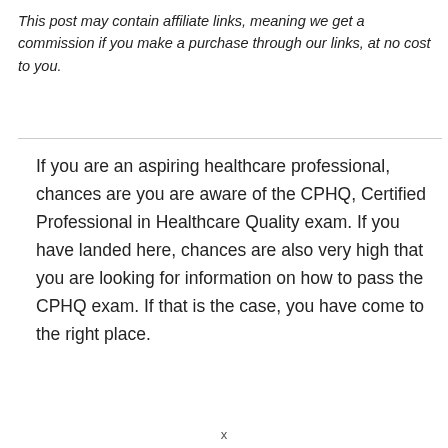This post may contain affiliate links, meaning we get a commission if you make a purchase through our links, at no cost to you.
If you are an aspiring healthcare professional, chances are you are aware of the CPHQ, Certified Professional in Healthcare Quality exam. If you have landed here, chances are also very high that you are looking for information on how to pass the CPHQ exam. If that is the case, you have come to the right place.